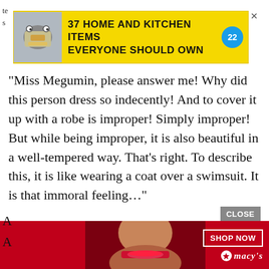[Figure (screenshot): Advertisement banner: '37 HOME AND KITCHEN ITEMS EVERYONE SHOULD OWN' on yellow background with image of kitchen items and blue badge showing '22']
“Miss Megumin, please answer me! Why did this person dress so indecently! And to cover it up with a robe is improper! Simply improper! But while being improper, it is also beautiful in a well-tempered way. That’s right. To describe this, it is like wearing a coat over a swimsuit. It is that immoral feeling…”
“Hey, you are noisy! What are you doing? Get lost!”
[Figure (screenshot): Advertisement banner: 'KISS BORING LIPS GOODBYE' on red background with photo of woman's face with red lipstick, 'SHOP NOW' button and Macy's star logo on right side; 'CLOSE' button above. Partial text 'A' and 'A' visible on left.]